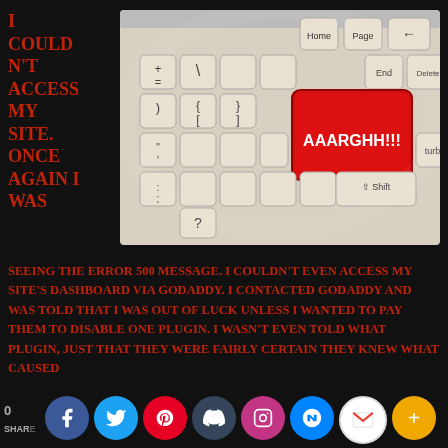I couldn't access my site. Once again I was
[Figure (photo): Close-up photo of a computer keyboard with a red key labeled AAARGHH!!! and other standard white keys including Shift, turbo, End, Delete, and numeric/symbol keys]
seeing the Error 500 message. I couldn't even access my site's dashboard via GoDaddy. I contacted GoDaddy and was told that I was out of luck unless I wanted to pay them to disable one plugin. I wasn't even told WHAT plugin, just that they were fairly certain they knew what caused